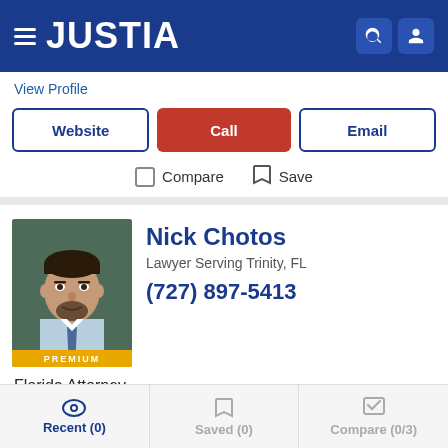[Figure (screenshot): Justia website header with logo, hamburger menu, search and user icons on dark blue background]
View Profile
Website  Call  Email
Compare  Save
[Figure (photo): Professional headshot of Nick Chotos, male attorney with dark hair and beard, wearing light blue shirt and tie, with PREMIUM badge overlay]
Nick Chotos
Lawyer Serving Trinity, FL
(727) 897-5413
Florida Attorney
View Profile
Recent (0)  Saved (0)  Compare (0/3)